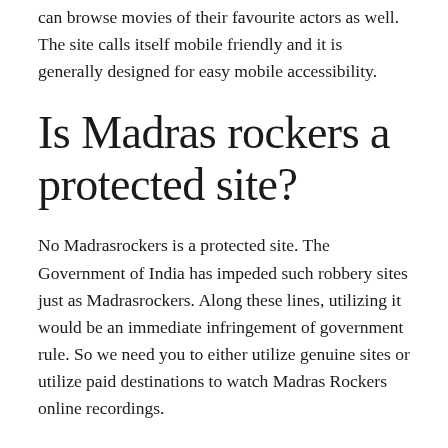can browse movies of their favourite actors as well. The site calls itself mobile friendly and it is generally designed for easy mobile accessibility.
Is Madras rockers a protected site?
No Madrasrockers is a protected site. The Government of India has impeded such robbery sites just as Madrasrockers. Along these lines, utilizing it would be an immediate infringement of government rule. So we need you to either utilize genuine sites or utilize paid destinations to watch Madras Rockers online recordings.